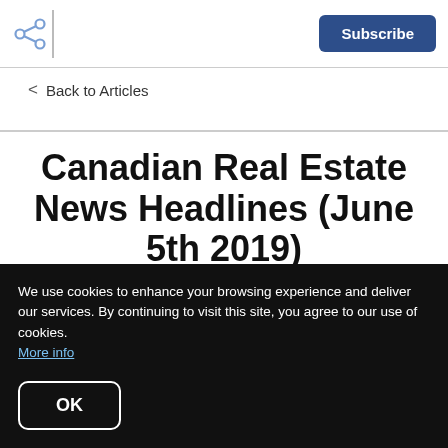Subscribe
< Back to Articles
Canadian Real Estate News Headlines (June 5th 2019)
We use cookies to enhance your browsing experience and deliver our services. By continuing to visit this site, you agree to our use of cookies. More info
OK